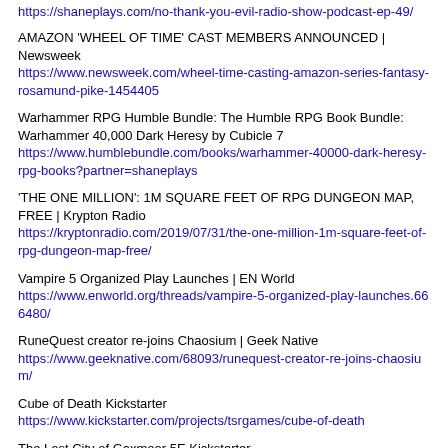https://shaneplays.com/no-thank-you-evil-radio-show-podcast-ep-49/
AMAZON 'WHEEL OF TIME' CAST MEMBERS ANNOUNCED | Newsweek
https://www.newsweek.com/wheel-time-casting-amazon-series-fantasy-rosamund-pike-1454405
Warhammer RPG Humble Bundle: The Humble RPG Book Bundle: Warhammer 40,000 Dark Heresy by Cubicle 7
https://www.humblebundle.com/books/warhammer-40000-dark-heresy-rpg-books?partner=shaneplays
'THE ONE MILLION': 1M SQUARE FEET OF RPG DUNGEON MAP, FREE | Krypton Radio
https://kryptonradio.com/2019/07/31/the-one-million-1m-square-feet-of-rpg-dungeon-map-free/
Vampire 5 Organized Play Launches | EN World
https://www.enworld.org/threads/vampire-5-organized-play-launches.666480/
RuneQuest creator re-joins Chaosium | Geek Native
https://www.geeknative.com/68093/runequest-creator-re-joins-chaosium/
Cube of Death Kickstarter
https://www.kickstarter.com/projects/tsrgames/cube-of-death
The Lost City of Gaxmoor 5E Kickstarter
https://www.kickstarter.com/projects/676918054/the-lost-city-of-gaxmoor-5e